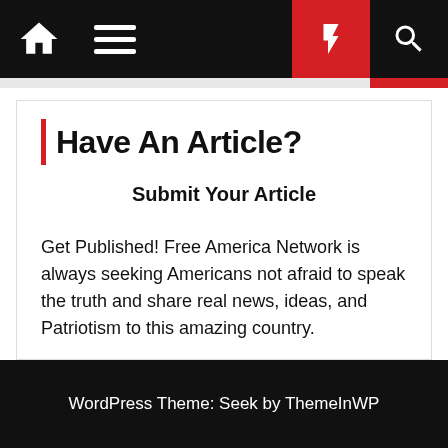[Figure (screenshot): Navigation bar with home icon, hamburger menu, red lightning bolt button, and search icon on black background]
Have An Article?
Submit Your Article
Get Published! Free America Network is always seeking Americans not afraid to speak the truth and share real news, ideas, and Patriotism to this amazing country.
WordPress Theme: Seek by ThemeInWP